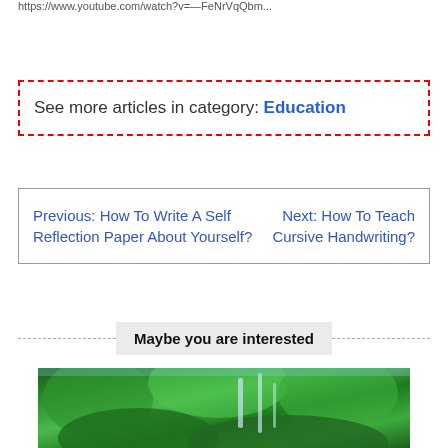https://www.youtube.com/watch?v=...
See more articles in category: Education
Previous: How To Write A Self Reflection Paper About Yourself?    Next: How To Teach Cursive Handwriting?
Maybe you are interested
[Figure (photo): Lush green tropical forest with waterfalls on steep hillside]